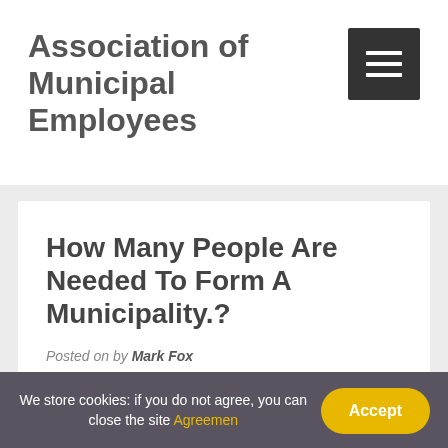Association of Municipal Employees
How Many People Are Needed To Form A Municipality.?
Posted on by Mark Fox
We store cookies: if you do not agree, you can close the site Agreemen